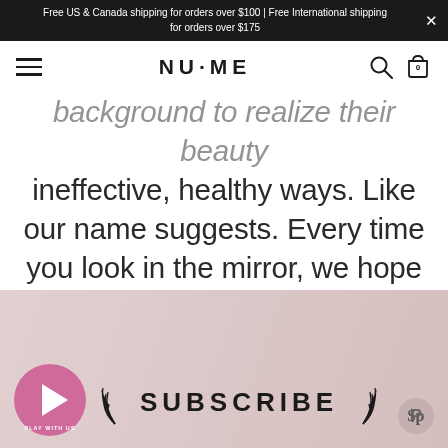Free US & Canada shipping for orders over $100 | Free International shipping for orders over $175
[Figure (screenshot): NuMe website navigation bar with hamburger menu, NuMe logo, search icon, and shopping bag icon with 0 items]
background to realize their beauty ineffective, healthy ways. Like our name suggests. Every time you look in the mirror, we hope our products encourage you to look and feel like a "new me."
[Figure (infographic): Subscribe section with play button labeled 'PLAY WITH US', laurel wreath decoration around 'SUBSCRIBE' text, and Pinterest icon in bottom right corner, on a pink/rose textured background]